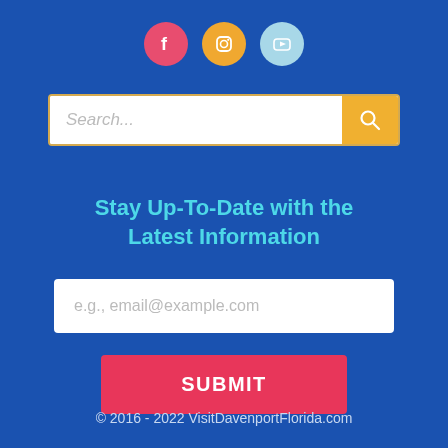[Figure (illustration): Three social media icon circles: Facebook (pink/red), Instagram (orange/gold), YouTube (light blue)]
[Figure (other): Search bar with placeholder text 'Search...' and a yellow search button with magnifying glass icon]
Stay Up-To-Date with the Latest Information
[Figure (other): Email input field with placeholder 'e.g., email@example.com']
[Figure (other): Pink SUBMIT button]
© 2016 - 2022 VisitDavenportFlorida.com